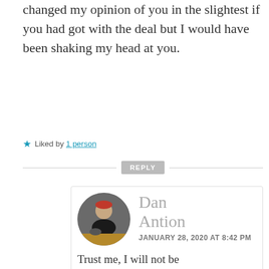changed my opinion of you in the slightest if you had got with the deal but I would have been shaking my head at you.
★ Liked by 1 person
REPLY
Dan Antion
JANUARY 28, 2020 AT 8:42 PM
Trust me, I will not be